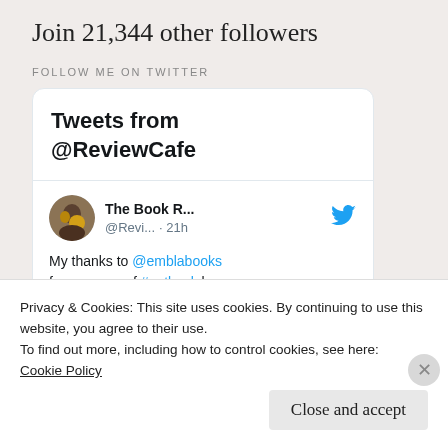Join 21,344 other followers
FOLLOW ME ON TWITTER
[Figure (screenshot): Twitter widget showing 'Tweets from @ReviewCafe' with a tweet from 'The Book R... @Revi... · 21h' saying 'My thanks to @emblabooks for my copy of #outback by']
Privacy & Cookies: This site uses cookies. By continuing to use this website, you agree to their use.
To find out more, including how to control cookies, see here: Cookie Policy
Close and accept